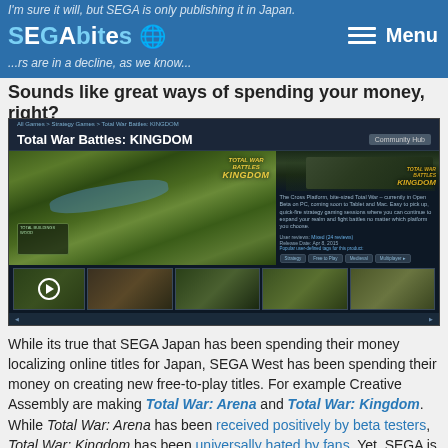SEGAbits — Menu
I'm sure it will, but SEGA is only publishing it in Japan.
...rs are in a decline, as we know...
Sounds like great ways of spending your money, right?
[Figure (screenshot): Steam store page screenshot for Total War Battles: KINGDOM showing gameplay screenshot with aerial view of medieval kingdom, a character image, game description, reviews, release date (Apr 8, 2015), and strategy/free-to-play/medieval/multiplayer tags. Thumbnail strip at bottom shows additional game screenshots.]
While its true that SEGA Japan has been spending their money localizing online titles for Japan, SEGA West has been spending their money on creating new free-to-play titles. For example Creative Assembly are making Total War: Arena and Total War: Kingdom. While Total War: Arena has been received positively by beta testers, Total War: Kingdom has been universally hated by fans. Yet, SEGA is still wasting